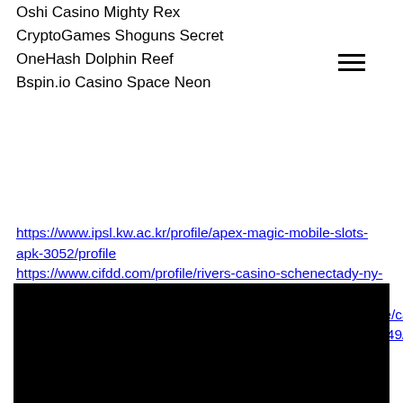Oshi Casino Mighty Rex
CryptoGames Shoguns Secret
OneHash Dolphin Reef
Bspin.io Casino Space Neon
https://www.ipsl.kw.ac.kr/profile/apex-magic-mobile-slots-apk-3052/profile
https://www.cifdd.com/profile/rivers-casino-schenectady-ny-address-7019/profile
http://www.thedarkkon.com/blog/index.php/community/profile/casinoen46701393/
https://nintendoextreme.com/forums/profile/casinoen42497849/
[Figure (screenshot): Black rectangle with a cyan/blue circular chat button with three white dots in the bottom-right area]